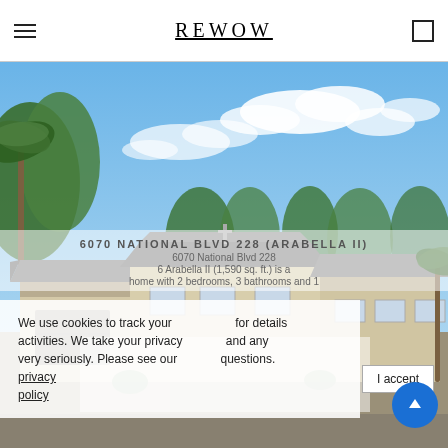REWOW
[Figure (photo): Exterior photo of a residential home with palm trees, tropical landscaping, and blue sky with clouds. The house has a light beige/tan facade with a gray shingle roof and attached garage.]
6070 NATIONAL BLVD 228 (ARABELLA II)
6070 National Blvd 228
6 Arabella II (1,590 sq. ft.) is a home with 2 bedrooms, 3 bathrooms and 1
We use cookies to track your for details activities. We take your privacy and any very seriously. Please see our questions.
privacy policy